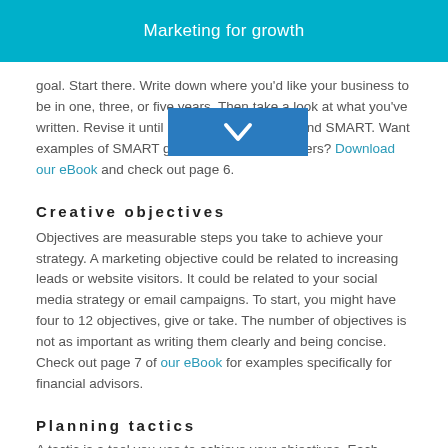Marketing for growth
goal. Start there. Write down where you'd like your business to be in one, three, or five years. Then take a look at what you've written. Revise it until it is clearly defined — and SMART. Want examples of SMART goals for financial planners? Download our eBook and check out page 6.
Creative objectives
Objectives are measurable steps you take to achieve your strategy. A marketing objective could be related to increasing leads or website visitors. It could be related to your social media strategy or email campaigns. To start, you might have four to 12 objectives, give or take. The number of objectives is not as important as writing them clearly and being concise. Check out page 7 of our eBook for examples specifically for financial advisors.
Planning tactics
A tactic is a tool you use to achieve your objectives. Each